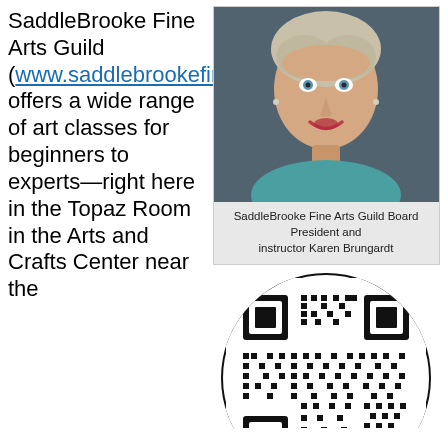SaddleBrooke Fine Arts Guild (www.saddlebrookefinearts.org) offers a wide range of art classes for beginners to experts—right here in the Topaz Room in the Arts and Crafts Center near the
[Figure (photo): Portrait photo of SaddleBrooke Fine Arts Guild Board President and instructor Karen Brungardt, a woman with short blonde hair and a teal top, smiling.]
SaddleBrooke Fine Arts Guild Board President and instructor Karen Brungardt
[Figure (other): QR code inside a circular crop/border, black and white]